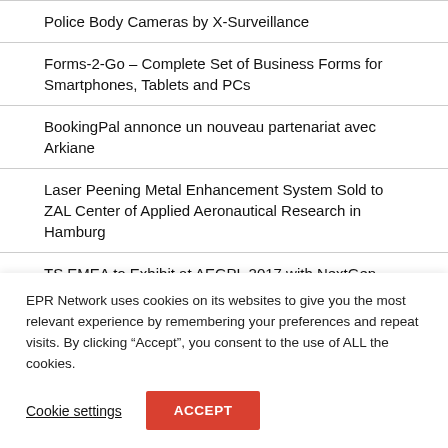Police Body Cameras by X-Surveillance
Forms-2-Go – Complete Set of Business Forms for Smartphones, Tablets and PCs
BookingPal annonce un nouveau partenariat avec Arkiane
Laser Peening Metal Enhancement System Sold to ZAL Center of Applied Aeronautical Research in Hamburg
TS EMEA to Exhibit at AEGPL 2017 with NextGen Mobility Solutions On-Hand
EPR Network uses cookies on its websites to give you the most relevant experience by remembering your preferences and repeat visits. By clicking “Accept”, you consent to the use of ALL the cookies.
Cookie settings
ACCEPT